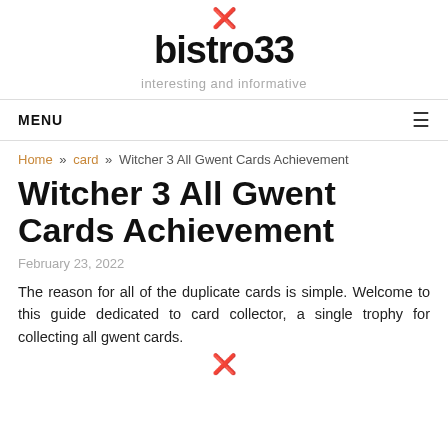bistro33 — interesting and informative
MENU
Home » card » Witcher 3 All Gwent Cards Achievement
Witcher 3 All Gwent Cards Achievement
February 23, 2022
The reason for all of the duplicate cards is simple. Welcome to this guide dedicated to card collector, a single trophy for collecting all gwent cards.